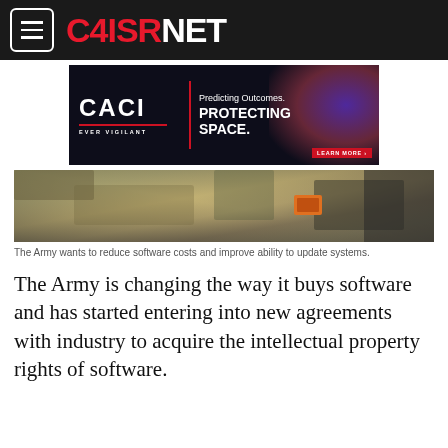C4ISRNET
[Figure (other): CACI advertisement banner: 'Predicting Outcomes. PROTECTING SPACE.' with EVER VIGILANT tagline and LEARN MORE button, dark background with space imagery glow]
[Figure (photo): Soldier in camouflage uniform working on equipment, photo cropped showing upper body area]
The Army wants to reduce software costs and improve ability to update systems.
The Army is changing the way it buys software and has started entering into new agreements with industry to acquire the intellectual property rights of software.